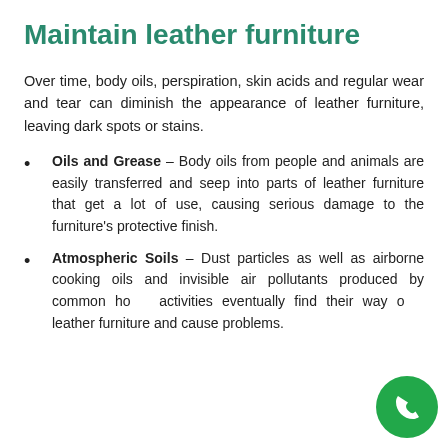Maintain leather furniture
Over time, body oils, perspiration, skin acids and regular wear and tear can diminish the appearance of leather furniture, leaving dark spots or stains.
Oils and Grease – Body oils from people and animals are easily transferred and seep into parts of leather furniture that get a lot of use, causing serious damage to the furniture's protective finish.
Atmospheric Soils – Dust particles as well as airborne cooking oils and invisible air pollutants produced by common home activities eventually find their way onto leather furniture and cause problems.